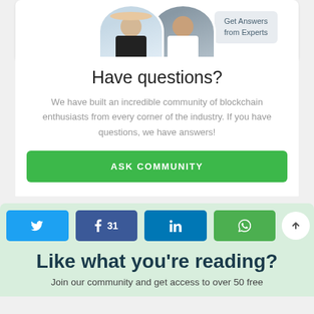[Figure (photo): Two people (a blonde woman and a man) shown as circular avatar photos overlapping, with a badge reading 'Get Answers from Experts']
Have questions?
We have built an incredible community of blockchain enthusiasts from every corner of the industry. If you have questions, we have answers!
ASK COMMUNITY
[Figure (infographic): Social share buttons: Twitter, Facebook (with count 31), LinkedIn, WhatsApp, and a scroll-up arrow button]
Like what you're reading?
Join our community and get access to over 50 free